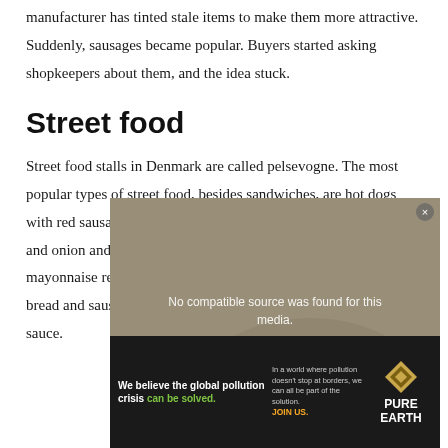manufacturer has tinted stale items to make them more attractive. Suddenly, sausages became popular. Buyers started asking shopkeepers about them, and the idea stuck.
Street food
Street food stalls in Denmark are called pelsevogne. The most popular types of street food, besides sandwiches, are hot dogs with red sausages. These sandwiches include pickled cucumber and onion and sauces such as ketchup, mustard and Danish mayonnaise remoulade. Unlike American hot dogs, Danes eat bread and sausages separately, dipping them alternately in the sauce.
[Figure (screenshot): Video player showing 'No compatible source was found for this media' message overlaid on a food image, partly obscured by a Pure Earth advertisement banner at the bottom.]